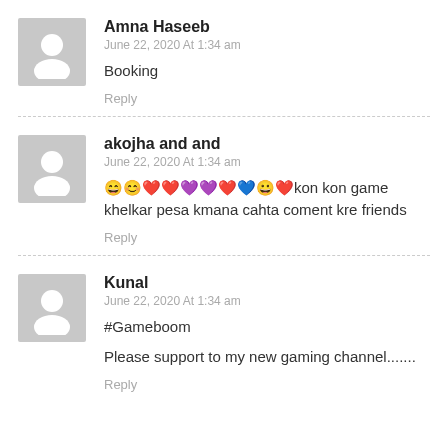Amna Haseeb
June 22, 2020 At 1:34 am
Booking
Reply
akojha and and
June 22, 2020 At 1:34 am
😄😊❤️❤️💜💜❤️💙😀❤️kon kon game khelkar pesa kmana cahta coment kre friends
Reply
Kunal
June 22, 2020 At 1:34 am
#Gameboom
Please support to my new gaming channel.......
Reply